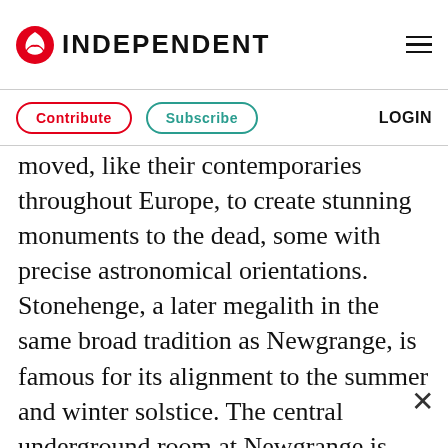INDEPENDENT
Contribute   Subscribe   LOGIN
moved, like their contemporaries throughout Europe, to create stunning monuments to the dead, some with precise astronomical orientations. Stonehenge, a later megalith in the same broad tradition as Newgrange, is famous for its alignment to the summer and winter solstice. The central underground room at Newgrange is built so that as the sun rises around the time of the winter solstice it illuminates the whole chamber through what is called a roof box.